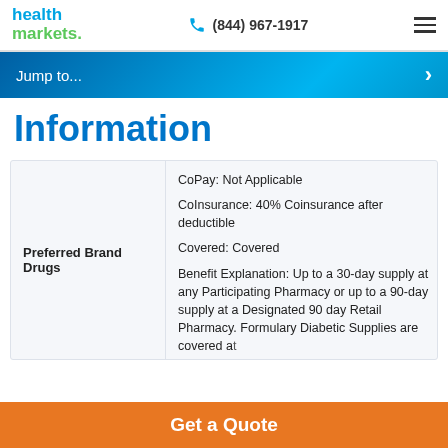health markets | (844) 967-1917
Jump to...
Information
CoPay: Not Applicable
CoInsurance: 40% Coinsurance after deductible
Covered: Covered
Benefit Explanation: Up to a 30-day supply at any Participating Pharmacy or up to a 90-day supply at a Designated 90 day Retail Pharmacy. Formulary Diabetic Supplies are covered at...
Preferred Brand Drugs
Get a Quote